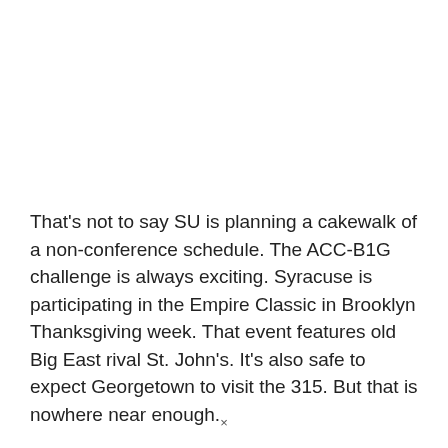That's not to say SU is planning a cakewalk of a non-conference schedule. The ACC-B1G challenge is always exciting. Syracuse is participating in the Empire Classic in Brooklyn Thanksgiving week. That event features old Big East rival St. John's. It's also safe to expect Georgetown to visit the 315. But that is nowhere near enough.
×